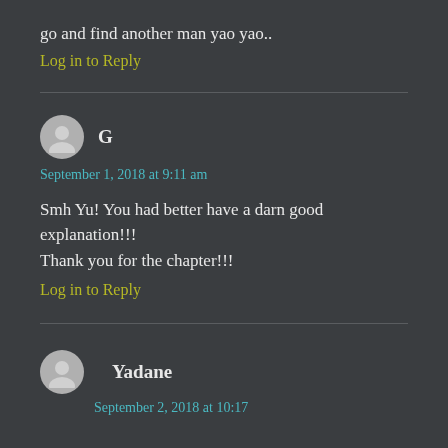go and find another man yao yao..
Log in to Reply
G
September 1, 2018 at 9:11 am
Smh Yu! You had better have a darn good explanation!!!
Thank you for the chapter!!!
Log in to Reply
Yadane